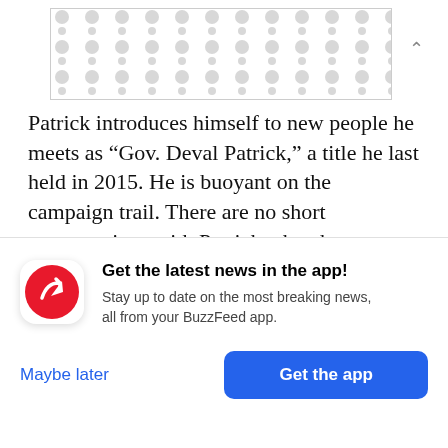[Figure (other): Advertisement banner placeholder with repeating dot/speech-bubble pattern in light gray on white background]
Patrick introduces himself to new people he meets as “Gov. Deval Patrick,” a title he last held in 2015. He is buoyant on the campaign trail. There are no short conversations with Patrick when he wants to engage. And he always wants to engage.
At one stop in New Jersey, Patrick caught up with an old mentee. At another, he got into an animated conversation with a gregarious young black pastor
Get the latest news in the app! Stay up to date on the most breaking news, all from your BuzzFeed app.
Maybe later
Get the app